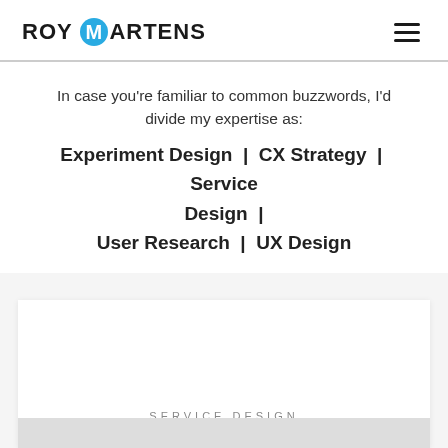ROY MARTENS
In case you're familiar to common buzzwords, I'd divide my expertise as:
Experiment Design  |  CX Strategy  |  Service Design  |  User Research  |  UX Design
SERVICE DESIGN